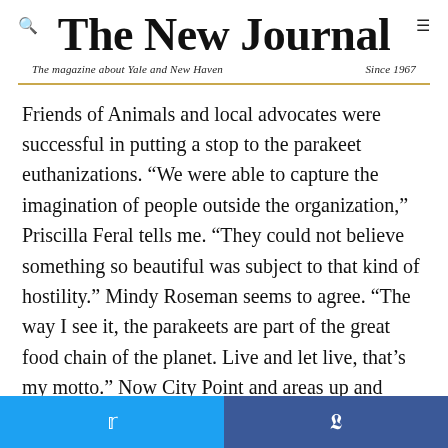The New Journal
The magazine about Yale and New Haven   Since 1967
Friends of Animals and local advocates were successful in putting a stop to the parakeet euthanizations. “We were able to capture the imagination of people outside the organization,” Priscilla Feral tells me. “They could not believe something so beautiful was subject to that kind of hostility.” Mindy Roseman seems to agree. “The way I see it, the parakeets are part of the great food chain of the planet. Live and let live, that’s my motto.” Now City Point and areas up and down the coast of Connecticut reverberate with the squawking of a